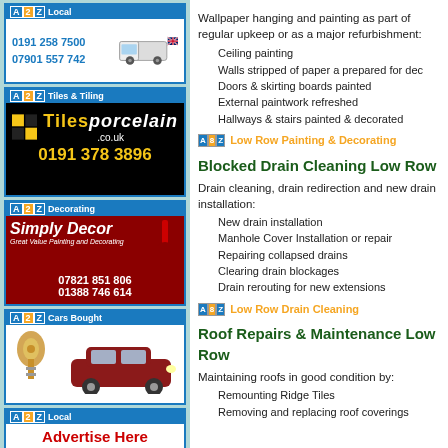[Figure (advertisement): A2Z Van Services ad with phone numbers 0191 258 7500 and 07901 557 742]
[Figure (advertisement): A2Z Tiles & Tiling - Tiles porcelain .co.uk, phone 0191 378 3896]
[Figure (advertisement): A2Z Decorating - Simply Decor, phones 07821 851 806 and 01388 746 614]
[Figure (advertisement): A2Z Cars Bought ad with image of car keys and red Mini]
[Figure (advertisement): A2Z Local - Advertise Here From £5/Month, phone 07508 360 360]
[Figure (advertisement): A2Z Local (partial at bottom)]
Wallpaper hanging and painting as part of regular upkeep or as a major refurbishment:
Ceiling painting
Walls stripped of paper a prepared for dec
Doors & skirting boards painted
External paintwork refreshed
Hallways & stairs painted & decorated
Low Row Painting & Decorating
Blocked Drain Cleaning Low Row
Drain cleaning, drain redirection and new drain installation:
New drain installation
Manhole Cover Installation or repair
Repairing collapsed drains
Clearing drain blockages
Drain rerouting for new extensions
Low Row Drain Cleaning
Roof Repairs & Maintenance Low Row
Maintaining roofs in good condition by:
Remounting Ridge Tiles
Removing and replacing roof coverings